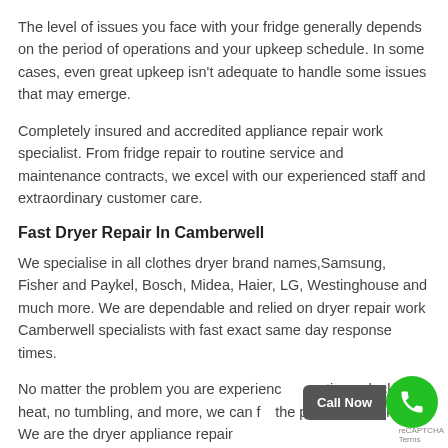The level of issues you face with your fridge generally depends on the period of operations and your upkeep schedule. In some cases, even great upkeep isn't adequate to handle some issues that may emerge.
Completely insured and accredited appliance repair work specialist. From fridge repair to routine service and maintenance contracts, we excel with our experienced staff and extraordinary customer care.
Fast Dryer Repair In Camberwell
We specialise in all clothes dryer brand names,Samsung, Fisher and Paykel, Bosch, Midea, Haier, LG, Westinghouse and much more. We are dependable and relied on dryer repair work Camberwell specialists with fast exact same day response times.
No matter the problem you are experiencing, dryer times, lack of heat, no tumbling, and more, we can fix the problem, quickly. We are the dryer appliance repair